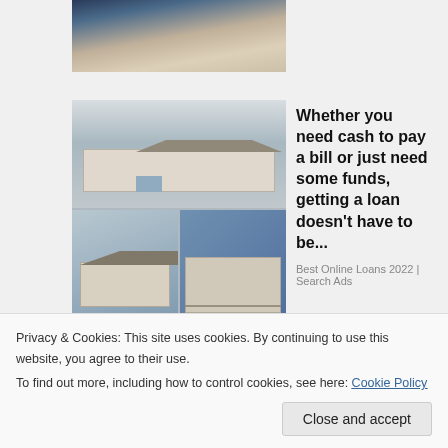[Figure (photo): Cropped photo of a person at the top of the page]
[Figure (photo): Advertisement image showing mobile homes/manufactured homes in a grid collage]
Whether you need cash to pay a bill or just need some funds, getting a loan doesn't have to be...
Best Online Loans 2022 | Search Ads
sponsored by
Picture Mushroom
Privacy & Cookies: This site uses cookies. By continuing to use this website, you agree to their use.
To find out more, including how to control cookies, see here: Cookie Policy
Close and accept